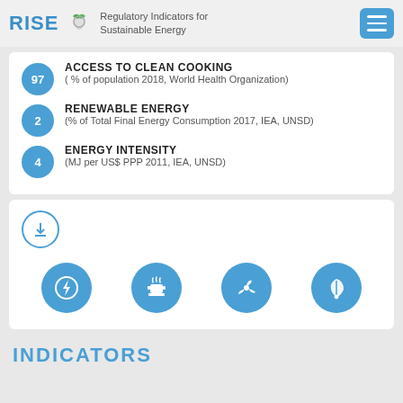RISE — Regulatory Indicators for Sustainable Energy
ACCESS TO CLEAN COOKING — 97 — (% of population 2018, World Health Organization)
RENEWABLE ENERGY — 2 — (% of Total Final Energy Consumption 2017, IEA, UNSD)
ENERGY INTENSITY — 4 — (MJ per US$ PPP 2011, IEA, UNSD)
[Figure (infographic): Download icon circle and four category icons: electricity, clean cooking, renewable energy, clean fuels]
INDICATORS